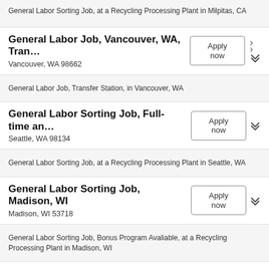General Labor Sorting Job, at a Recycling Processing Plant in Milpitas, CA
General Labor Job, Vancouver, WA, Tran…
Vancouver, WA 98662
General Labor Job, Transfer Station, in Vancouver, WA
General Labor Sorting Job, Full-time an…
Seattle, WA 98134
General Labor Sorting Job, at a Recycling Processing Plant in Seattle, WA
General Labor Sorting Job, Madison, WI
Madison, WI 53718
General Labor Sorting Job, Bonus Program Avaliable, at a Recycling Processing Plant in Madison, WI
General Labor Sorter job, Tacoma, WA
Tacoma, WA 98446
General Labor Sorter Job, at a Recycling Processing Plant in Tacoma, WA with training and benefits provided.